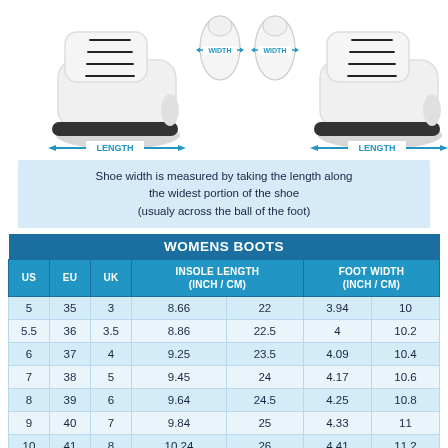[Figure (illustration): Two white boots shown from the side with width and length measurement arrows. Left boot is larger, right boot is smaller. Blue arrows indicate WIDTH across the top and LENGTH along the bottom.]
Shoe width is measured by taking the length along the widest portion of the shoe (usualy across the ball of the foot)
| US | EU | UK | INSOLE LENGTH (inch / cm) | FOOT WIDTH (inch / cm) |
| --- | --- | --- | --- | --- |
| 5 | 35 | 3 | 8.66 | 22 | 3.94 | 10 |
| 5.5 | 36 | 3.5 | 8.86 | 22.5 | 4 | 10.2 |
| 6 | 37 | 4 | 9.25 | 23.5 | 4.09 | 10.4 |
| 7 | 38 | 5 | 9.45 | 24 | 4.17 | 10.6 |
| 8 | 39 | 6 | 9.64 | 24.5 | 4.25 | 10.8 |
| 9 | 40 | 7 | 9.84 | 25 | 4.33 | 11 |
| 10 | 41 | 8 | 10.24 | 26 | 4.41 | 11.2 |
| 11 | 42 | 9 | 10.43 | 26.5 | 4.49 | 11.4 |